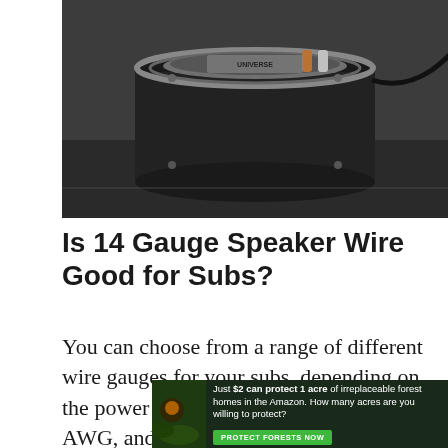[Figure (photo): Close-up photo of a black subwoofer speaker with metal hardware on top, sitting on a dark surface with a cable visible.]
Is 14 Gauge Speaker Wire Good for Subs?
You can choose from a range of different wire gauges for your subs, depending on the power they require. 12 AWG, 14 AWG, and even 16 AWG can do the job depending
[Figure (infographic): Advertisement banner: 'Just $2 can protect 1 acre of irreplaceable forest homes in the Amazon. How many acres are you willing to protect?' with a green 'PROTECT FORESTS NOW' button and a forest/wildlife image on the left.]